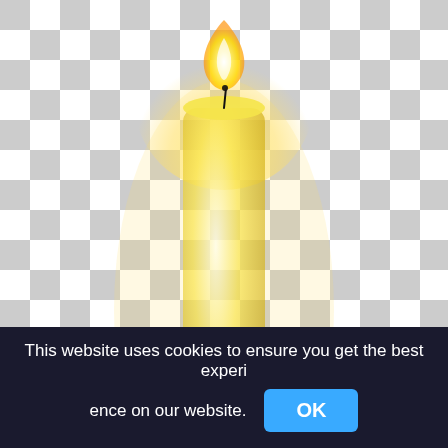[Figure (illustration): A lit birthday candle with yellow flame on a transparent (checkerboard) background. The candle is yellow/golden and semi-transparent, showing the checkered background through it. The flame glows yellow at the top.]
Lit Candle On Transparent Background, Candle,birthday candle png
515x637px
This website uses cookies to ensure you get the best experience on our website.